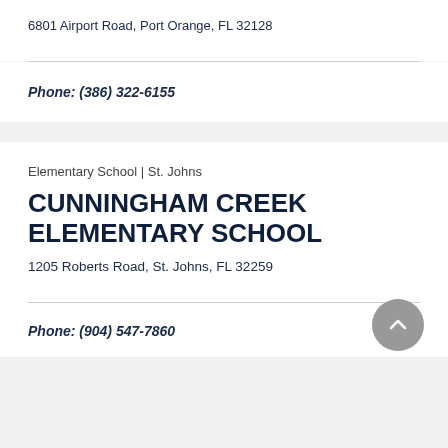6801 Airport Road, Port Orange, FL 32128
Phone: (386) 322-6155
Elementary School | St. Johns
CUNNINGHAM CREEK ELEMENTARY SCHOOL
1205 Roberts Road, St. Johns, FL 32259
Phone: (904) 547-7860